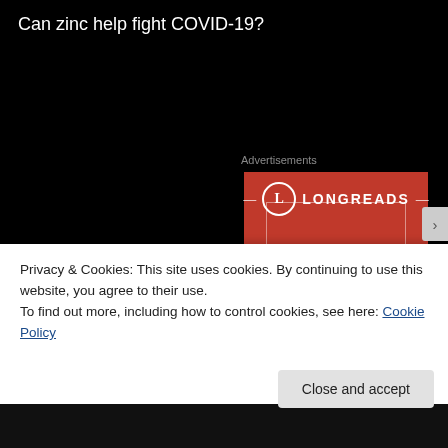Can zinc help fight COVID-19?
Advertisements
[Figure (logo): Longreads advertisement — red rectangular banner with white Longreads logo (circle with L) and inner border outline on red background]
Privacy & Cookies: This site uses cookies. By continuing to use this website, you agree to their use.
To find out more, including how to control cookies, see here: Cookie Policy
Close and accept